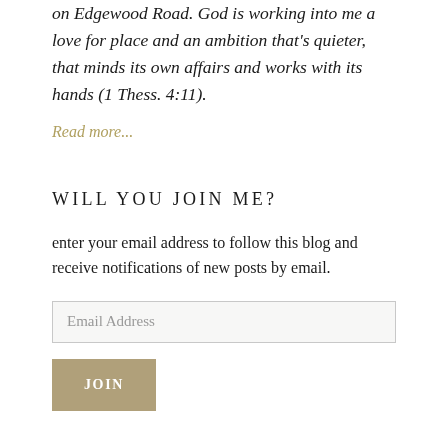on Edgewood Road. God is working into me a love for place and an ambition that's quieter, that minds its own affairs and works with its hands (1 Thess. 4:11).
Read more...
WILL YOU JOIN ME?
enter your email address to follow this blog and receive notifications of new posts by email.
Email Address
JOIN
TOPICS